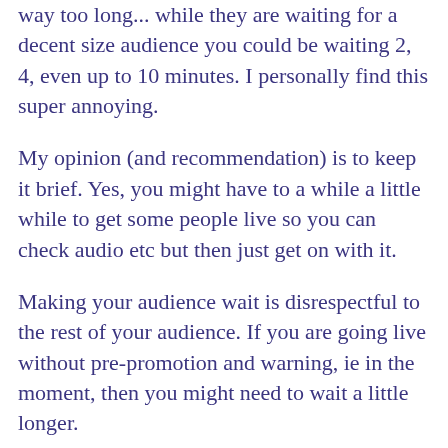way too long... while they are waiting for a decent size audience you could be waiting 2, 4, even up to 10 minutes. I personally find this super annoying.
My opinion (and recommendation) is to keep it brief. Yes, you might have to a while a little while to get some people live so you can check audio etc but then just get on with it.
Making your audience wait is disrespectful to the rest of your audience. If you are going live without pre-promotion and warning, ie in the moment, then you might need to wait a little longer.
In this section you can also ask people to share your video with people who they think might be